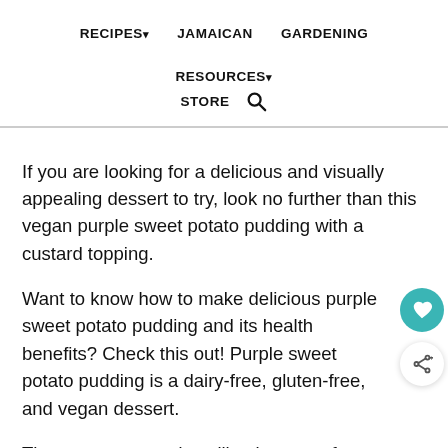RECIPES▾  JAMAICAN  GARDENING  RESOURCES▾  STORE 🔍
If you are looking for a delicious and visually appealing dessert to try, look no further than this vegan purple sweet potato pudding with a custard topping.
Want to know how to make delicious purple sweet potato pudding and its health benefits? Check this out! Purple sweet potato pudding is a dairy-free, gluten-free, and vegan dessert.
The sweetness and vanilla-cinnamon fl... the perfect thing to enhance the flavor. It is an elegant dessert that you can serve in the